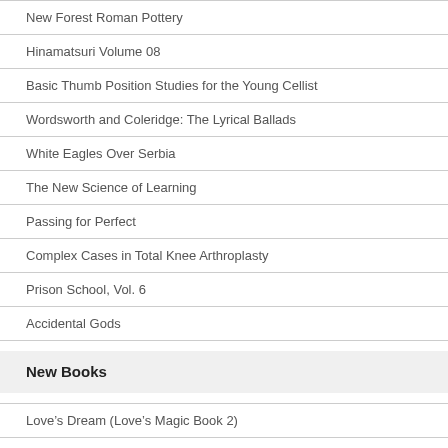New Forest Roman Pottery
Hinamatsuri Volume 08
Basic Thumb Position Studies for the Young Cellist
Wordsworth and Coleridge: The Lyrical Ballads
White Eagles Over Serbia
The New Science of Learning
Passing for Perfect
Complex Cases in Total Knee Arthroplasty
Prison School, Vol. 6
Accidental Gods
New Books
Love’s Dream (Love’s Magic Book 2)
Love’s Dream (Love’s Magic Book 2)